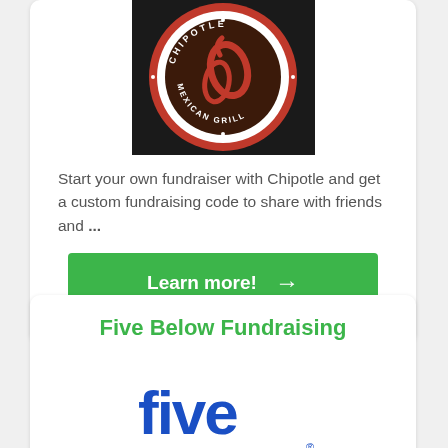[Figure (logo): Chipotle Mexican Grill circular logo with red border and dark background, showing chipotle pepper icon]
Start your own fundraiser with Chipotle and get a custom fundraising code to share with friends and ...
[Figure (other): Green 'Learn more!' button with right arrow]
Five Below Fundraising
[Figure (logo): Five Below logo in blue showing 'five BELoW' stylized text]